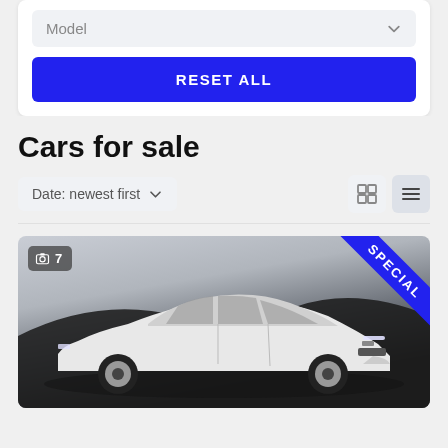Model
RESET ALL
Cars for sale
Date: newest first
[Figure (photo): White Polestar 2 electric sedan car photographed in front of dark rocky landscape. Badge shows '7' photos. Blue 'SPECIAL' ribbon in top-right corner.]